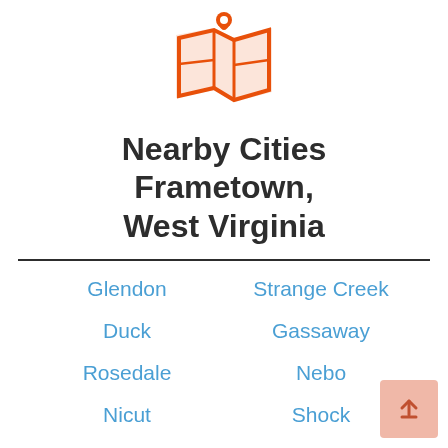[Figure (illustration): Orange map/location pin icon with a stylized map background]
Nearby Cities Frametown, West Virginia
Glendon
Strange Creek
Duck
Gassaway
Rosedale
Nebo
Nicut
Shock